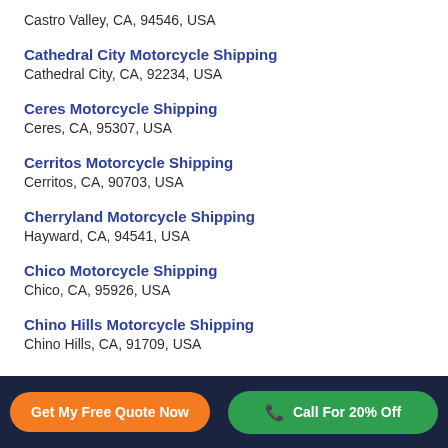Castro Valley, CA, 94546, USA
Cathedral City Motorcycle Shipping
Cathedral City, CA, 92234, USA
Ceres Motorcycle Shipping
Ceres, CA, 95307, USA
Cerritos Motorcycle Shipping
Cerritos, CA, 90703, USA
Cherryland Motorcycle Shipping
Hayward, CA, 94541, USA
Chico Motorcycle Shipping
Chico, CA, 95926, USA
Chino Hills Motorcycle Shipping
Chino Hills, CA, 91709, USA
Get My Free Quote Now | Call For 20% Off